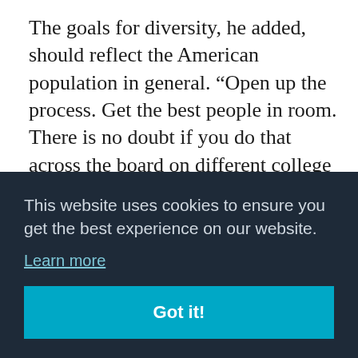The goals for diversity, he added, should reflect the American population in general. “Open up the process. Get the best people in room. There is no doubt if you do that across the board on different college campuses, then a richness of diversity will follow,” said Lapchick.
The University of Central Florida, where TIDES [text partially obscured] pact [text partially obscured] ribble [text partially obscured] the [text partially obscured] rates to the top 10 in the country.
This website uses cookies to ensure you get the best experience on our website.
Learn more
Got it!